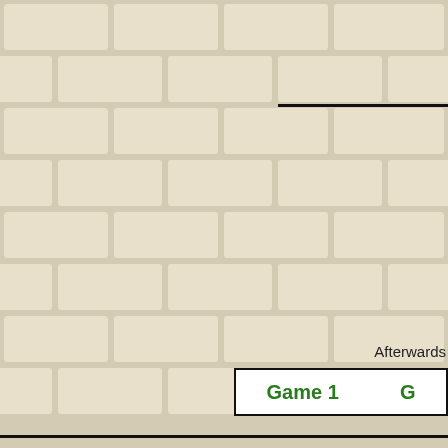[Figure (illustration): Brick wall pattern background with cream/beige colored bricks in a running bond pattern, covering the full page area.]
Afterwards
Game 1